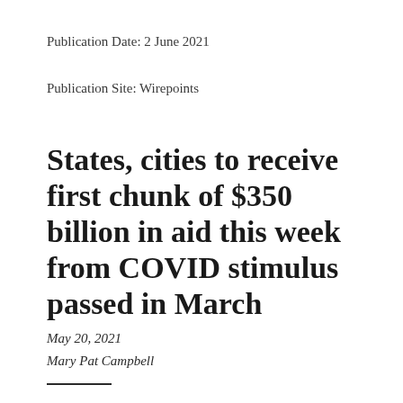Publication Date: 2 June 2021
Publication Site: Wirepoints
States, cities to receive first chunk of $350 billion in aid this week from COVID stimulus passed in March
May 20, 2021
Mary Pat Campbell